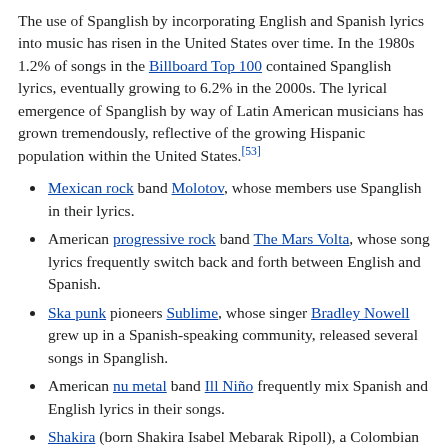The use of Spanglish by incorporating English and Spanish lyrics into music has risen in the United States over time. In the 1980s 1.2% of songs in the Billboard Top 100 contained Spanglish lyrics, eventually growing to 6.2% in the 2000s. The lyrical emergence of Spanglish by way of Latin American musicians has grown tremendously, reflective of the growing Hispanic population within the United States.[53]
Mexican rock band Molotov, whose members use Spanglish in their lyrics.
American progressive rock band The Mars Volta, whose song lyrics frequently switch back and forth between English and Spanish.
Ska punk pioneers Sublime, whose singer Bradley Nowell grew up in a Spanish-speaking community, released several songs in Spanglish.
American nu metal band Ill Niño frequently mix Spanish and English lyrics in their songs.
Shakira (born Shakira Isabel Mebarak Ripoll), a Colombian singer-songwriter, musician and model.
Sean Paul (born Sean Paul Ryan Francis Henriques), a Jamaican singer and songwriter.
Ricky Martin (born Enrique Martín Morales), a Puerto Rican pop musician, actor and author.
Pitbull (born Armando Christian Pérez), a successful Cuban-